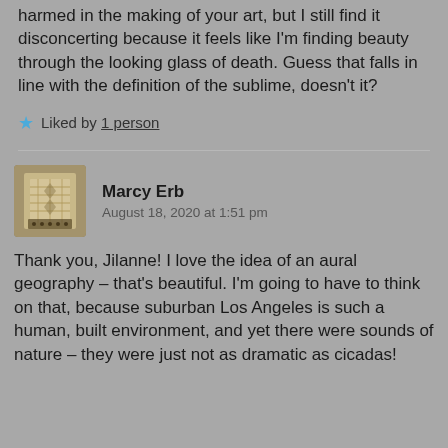harmed in the making of your art, but I still find it disconcerting because it feels like I'm finding beauty through the looking glass of death. Guess that falls in line with the definition of the sublime, doesn't it?
★ Liked by 1 person
Marcy Erb
August 18, 2020 at 1:51 pm
Thank you, Jilanne! I love the idea of an aural geography – that's beautiful. I'm going to have to think on that, because suburban Los Angeles is such a human, built environment, and yet there were sounds of nature – they were just not as dramatic as cicadas!